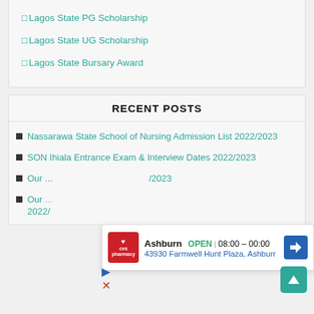□Lagos State PG Scholarship
□Lagos State UG Scholarship
□Lagos State Bursary Award
RECENT POSTS
Nassarawa State School of Nursing Admission List 2022/2023
SON Ihiala Entrance Exam & Interview Dates 2022/2023
Our … /2023
Our … 2022/
[Figure (infographic): CVS Pharmacy ad overlay showing Ashburn location open 08:00-00:00 at 43930 Farmwell Hunt Plaza, Ashburr]